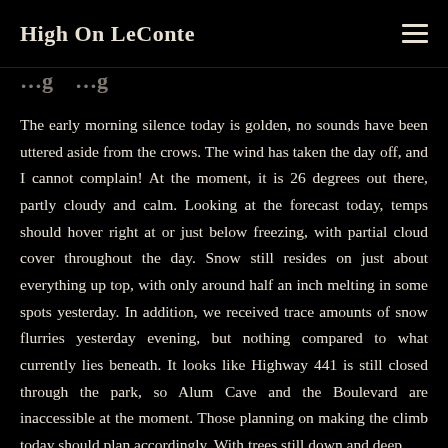High On LeConte
…g …g
The early morning silence today is golden, no sounds have been uttered aside from the crows. The wind has taken the day off, and I cannot complain! At the moment, it is 26 degrees out there, partly cloudy and calm. Looking at the forecast today, temps should hover right at or just below freezing, with partial cloud cover throughout the day. Snow still resides on just about everything up top, with only around half an inch melting in some spots yesterday. In addition, we received trace amounts of snow flurries yesterday evening, but nothing compared to what currently lies beneath. It looks like Highway 441 is still closed through the park, so Alum Cave and the Boulevard are inaccessible at the moment. Those planning on making the climb today should plan accordingly. With trees still down and deep